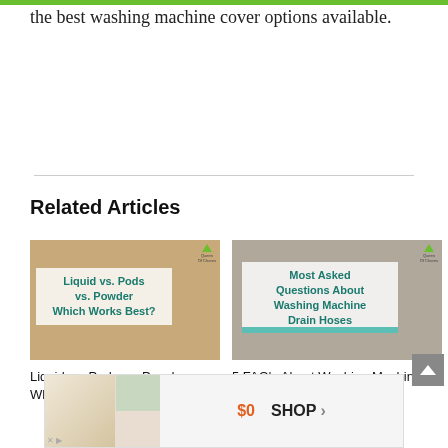the best washing machine cover options available.
Related Articles
[Figure (photo): Article thumbnail: Liquid vs. Pods vs. Powder – Which Works Best? Article image with text overlay on warm-toned background. Queen of Chores logo in corner.]
Liquid vs. Pods vs. Powder – Which Works Best?
[Figure (photo): Article thumbnail: Most Asked Questions About Washing Machine Drain Hoses. Image of gray hoses with text overlay. Queen of Chores logo in corner.]
5 FAQ's About Washing Machine Drain Hoses Answered
[Figure (photo): Advertisement banner showing stacked towels and bedding with $0 price and SHOP button.]